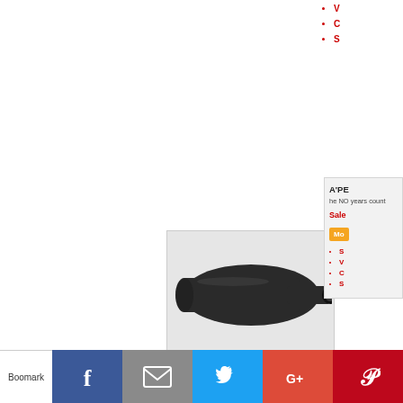V
C
S
[Figure (photo): Black automotive muffler/exhaust product shown on light gray background]
[Figure (other): Video camera icon on dark rounded square background]
Product Rating
N/A
✏️ Write A Review
A'PE
he NO years count
Sale
Mo
S
V
C
S
ACT
Alignr
[Figure (photo): Partially visible automotive part at bottom]
Boomark
[Figure (other): Facebook share button - blue background with white f icon]
[Figure (other): Email share button - gray background with white envelope icon]
[Figure (other): Twitter share button - light blue background with white bird icon]
[Figure (other): Google+ share button - red background with white G+ icon]
[Figure (other): Pinterest share button - dark red background with white P icon]